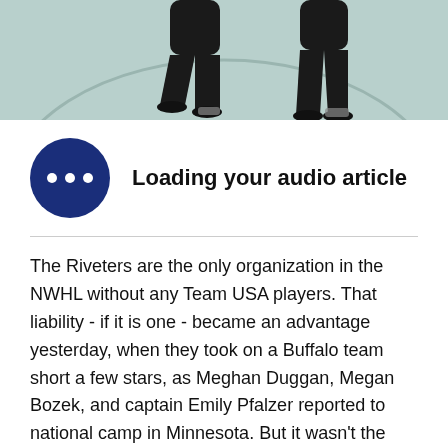[Figure (photo): A photo strip at the top showing two ice hockey players from below the waist on a rink surface.]
Loading your audio article
The Riveters are the only organization in the NWHL without any Team USA players. That liability - if it is one - became an advantage yesterday, when they took on a Buffalo team short a few stars, as Meghan Duggan, Megan Bozek, and captain Emily Pfalzer reported to national camp in Minnesota. But it wasn't the absence of American Olympians that made the difference for the Riveters. It was the overwhelming presence of international players Lyudmila Belyakova of Russia, the Austrian, Janine Weber, a hat trick from